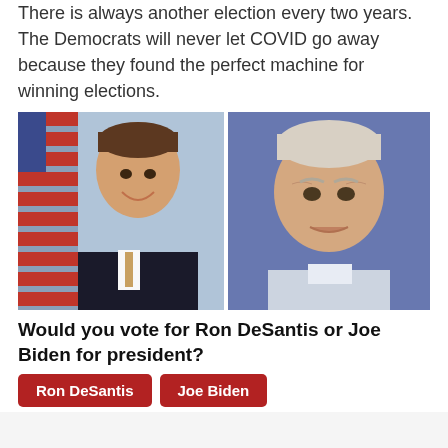There is always another election every two years. The Democrats will never let COVID go away because they found the perfect machine for winning elections.
[Figure (photo): Side-by-side photos of Ron DeSantis (left, smiling, in suit with American flag background) and Joe Biden (right, older man with white hair, blue background)]
Would you vote for Ron DeSantis or Joe Biden for president?
Ron DeSantis
Joe Biden
482,444 Votes